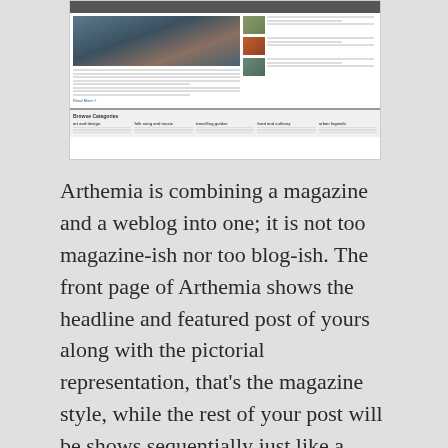[Figure (screenshot): Screenshot of the Arthemia WordPress theme showing a magazine-style blog layout with a featured image on the left, sidebar post thumbnails on the right, and a category browse section at the bottom with five categories: art and design, folk song and music, travelling guides, food and culinary, urban legends.]
Arthemia is combining a magazine and a weblog into one; it is not too magazine-ish nor too blog-ish. The front page of Arthemia shows the headline and featured post of yours along with the pictorial representation, that's the magazine style, while the rest of your post will be shows sequentially just like a usual weblog.
Free WordPress Theme : Arthemia